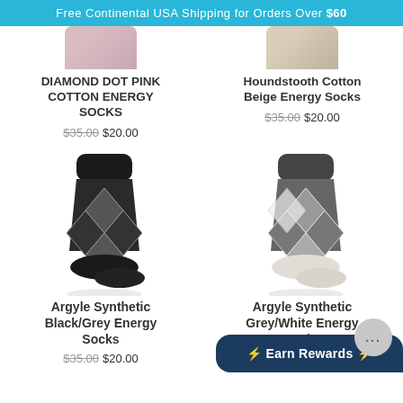Free Continental USA Shipping for Orders Over $60
DIAMOND DOT PINK COTTON ENERGY SOCKS
$35.00 $20.00
Houndstooth Cotton Beige Energy Socks
$35.00 $20.00
[Figure (photo): Argyle synthetic black/grey energy socks product photo]
Argyle Synthetic Black/Grey Energy Socks
$35.00 $20.00
[Figure (photo): Argyle synthetic grey/white energy socks product photo]
Argyle Synthetic Grey/White Energy Socks
$35.00
⚡ Earn Rewards ⚡